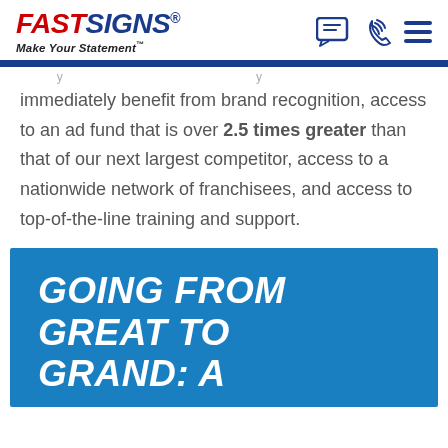FASTSIGNS. Make Your Statement
immediately benefit from brand recognition, access to an ad fund that is over 2.5 times greater than that of our next largest competitor, access to a nationwide network of franchisees, and access to top-of-the-line training and support.
GOING FROM GREAT TO GRAND: A